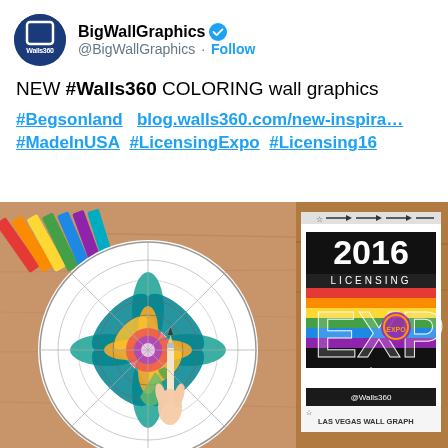[Figure (screenshot): Tweet from @BigWallGraphics showing a coloring mandala wall graphic and 2016 Licensing Expo wall graphic by Walls360]
BigWallGraphics @BigWallGraphics · Follow
NEW #Walls360 COLORING wall graphics

#Begsonland  blog.walls360.com/new-inspira… #MadeInUSA #LicensingExpo #Licensing16
[Figure (photo): Left: hand coloring a mandala design with colored pencils visible at top. Right: 2016 Licensing Expo wall graphic by Walls360 with colorful EXP text and Las Vegas Wall Graphics text at bottom.]